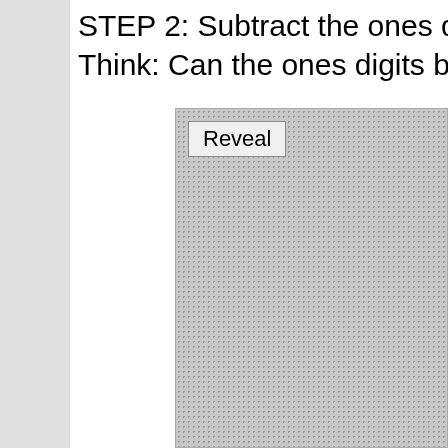STEP 2: Subtract the ones digits. Think: Can the ones digits be subt...
[Figure (other): A reveal box with a stippled/dotted gray background and a 'Reveal' button in the top-left corner. The box covers most of the lower portion of the page and appears to hide content beneath it.]